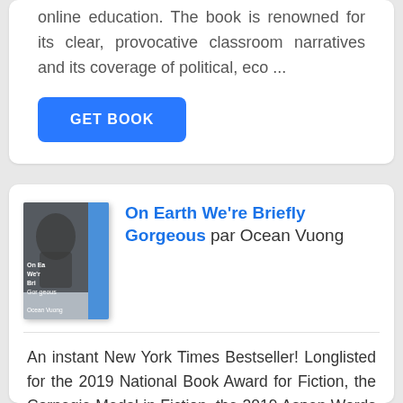online education. The book is renowned for its clear, provocative classroom narratives and its coverage of political, eco ...
GET BOOK
On Earth We're Briefly Gorgeous par Ocean Vuong
An instant New York Times Bestseller! Longlisted for the 2019 National Book Award for Fiction, the Carnegie Medal in Fiction, the 2019 Aspen Words Literacy Prize, and the